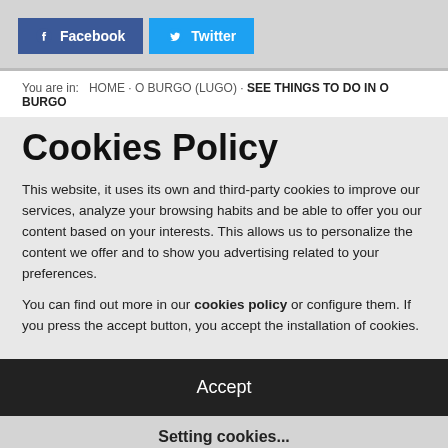[Figure (other): Facebook and Twitter social share buttons at the top of the page]
You are in:  HOME · O BURGO (LUGO) · SEE THINGS TO DO IN O BURGO
Cookies Policy
This website, it uses its own and third-party cookies to improve our services, analyze your browsing habits and be able to offer you our content based on your interests. This allows us to personalize the content we offer and to show you advertising related to your preferences.
You can find out more in our cookies policy or configure them. If you press the accept button, you accept the installation of cookies.
Accept
Setting cookies...